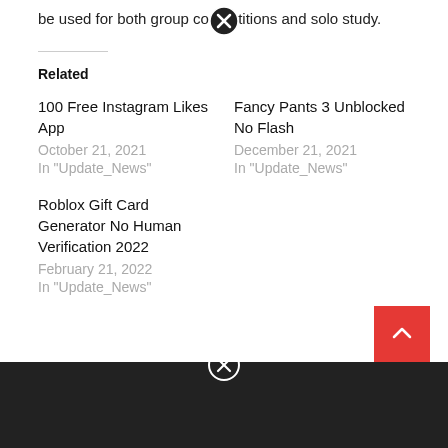be used for both group competitions and solo study.
Related
100 Free Instagram Likes App
October 21, 2021
In "Update_News"
Fancy Pants 3 Unblocked No Flash
December 21, 2021
In "Update_News"
Roblox Gift Card Generator No Human Verification 2022
February 21, 2022
In "Update_News"